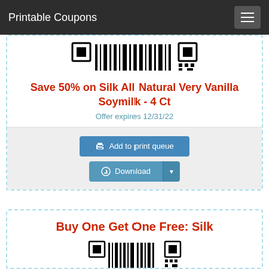Printable Coupons
[Figure (other): Barcode / QR code image for coupon]
Save 50% on Silk All Natural Very Vanilla Soymilk - 4 Ct
Offer expires 12/31/22
Add to print queue
Download
Buy One Get One Free: Silk
[Figure (other): Barcode / QR code image for second coupon]